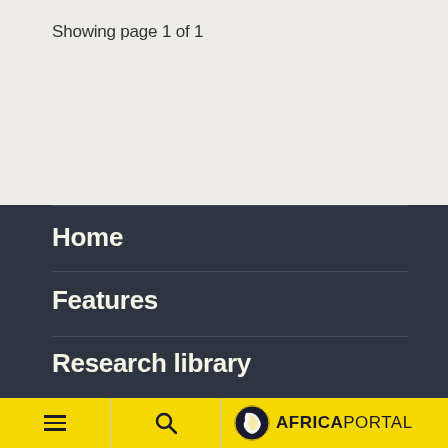Showing page 1 of 1
Home
Features
Research library
Content partners
AFRICAPORTAL